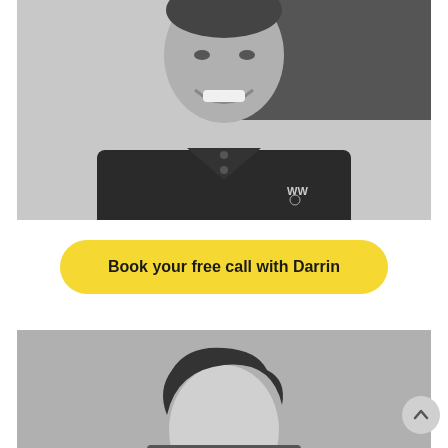[Figure (photo): Black and white headshot photo of a smiling man wearing a dark plaid shirt with 'W' logo, cropped at the torso]
Book your free call with Darrin
[Figure (photo): Black and white headshot photo of a man with dark hair, partially visible from the top, gray background]